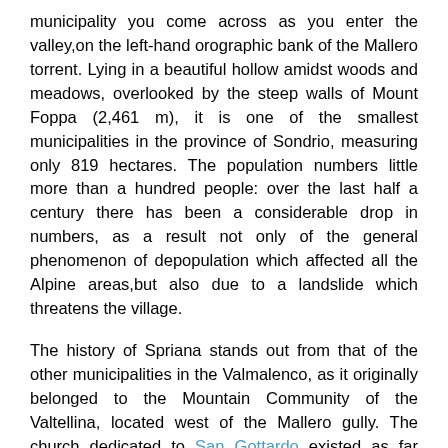municipality you come across as you enter the valley, on the left-hand orographic bank of the Mallero torrent. Lying in a beautiful hollow amidst woods and meadows, overlooked by the steep walls of Mount Foppa (2,461 m), it is one of the smallest municipalities in the province of Sondrio, measuring only 819 hectares. The population numbers little more than a hundred people: over the last half a century there has been a considerable drop in numbers, as a result not only of the general phenomenon of depopulation which affected all the Alpine areas, but also due to a landslide which threatens the village.
The history of Spriana stands out from that of the other municipalities in the Valmalenco, as it originally belonged to the Mountain Community of the Valtellina, located west of the Mallero gully. The church dedicated to San Gottardo existed as far back as the fifteenth century and was used for religious services for the entire territory, which was to become the future Municipality of Spriana. In 1624, Spriana became an autonomous parish. This was to be the